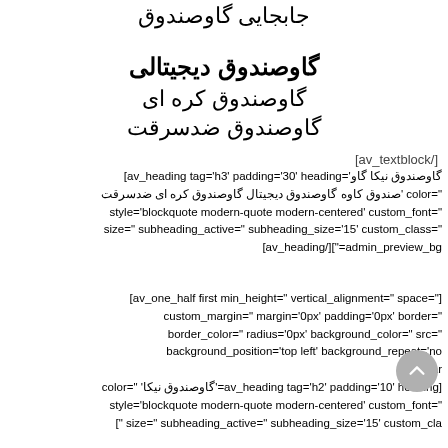جابجایی گاوصندوق
گاوصندوق دیجیتالی
گاوصندوق کره ای
گاوصندوق ضدسرقت
[av_textblock/]
[av_heading tag='h3' padding='30' heading='گاوصندوق نیکا گاو صندوق کاوه گاوصندوق دیجیتال گاوصندوق کره ای ضدسرقت' color=" style='blockquote modern-quote modern-centered' custom_font=" size=" subheading_active=" subheading_size='15' custom_class=" [av_heading/]["=admin_preview_bg
[av_one_half first min_height=" vertical_alignment=" space="] custom_margin=" margin='0px' padding='0px' border=" border_color=" radius='0px' background_color=" src=" background_position='top left' background_repeat='no ["=ar color=" 'گاوصندوق نیکا'=av_heading tag='h2' padding='10' heading] style='blockquote modern-quote modern-centered' custom_font=" [" size=" subheading_active=" subheading_size='15' custom_cla